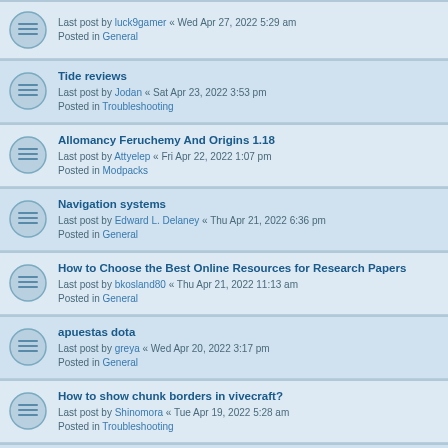Last post by luck9gamer « Wed Apr 27, 2022 5:29 am
Posted in General
Tide reviews
Last post by Jodan « Sat Apr 23, 2022 3:53 pm
Posted in Troubleshooting
Allomancy Feruchemy And Origins 1.18
Last post by Attyelep « Fri Apr 22, 2022 1:07 pm
Posted in Modpacks
Navigation systems
Last post by Edward L. Delaney « Thu Apr 21, 2022 6:36 pm
Posted in General
How to Choose the Best Online Resources for Research Papers
Last post by bkosland80 « Thu Apr 21, 2022 11:13 am
Posted in General
apuestas dota
Last post by greya « Wed Apr 20, 2022 3:17 pm
Posted in General
How to show chunk borders in vivecraft?
Last post by Shinomora « Tue Apr 19, 2022 5:28 am
Posted in Troubleshooting
Pamantayan sa pagpili para sa online na casino o mga site ng pagtaya
Last post by luck9gamer « Tue Apr 19, 2022 5:12 am
Posted in General
¿Dónde está lo más interesante?